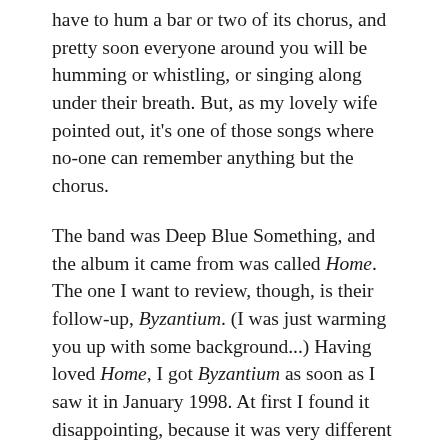have to hum a bar or two of its chorus, and pretty soon everyone around you will be humming or whistling, or singing along under their breath. But, as my lovely wife pointed out, it's one of those songs where no-one can remember anything but the chorus.
The band was Deep Blue Something, and the album it came from was called Home. The one I want to review, though, is their follow-up, Byzantium. (I was just warming you up with some background...) Having loved Home, I got Byzantium as soon as I saw it in January 1998. At first I found it disappointing, because it was very different from the earlier album. They seemed to have lost some of the high-energy pop sound, and the tunes weren't as immediately catchy.
After listening to it for a while, though, I started to appreciate the wide variety of styles and musical influences represented on the tracks. The first song...